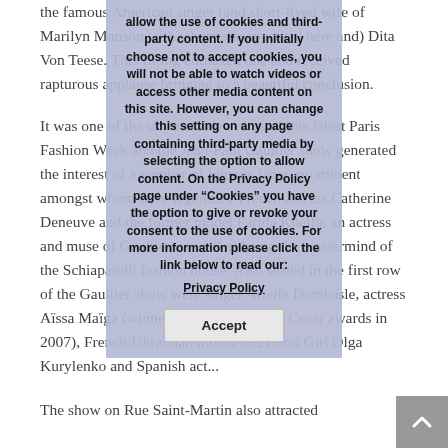the famous American singer (and short-lived wife of Marilyn Manson with whom she appeared here and) Dita Von Teese. This fitting climaxed one and received rapturous applause bringing to a beautiful conclusion.
It was one of the un-missable events of this latest Paris Fashion Week and the Jean-Paul Gaultier show generated the interest of a number of famous faces, prominent amongst whom were legendary French actress Catherine Deneuve and the former model Farida Khelfa; an actress and muse of Gaultier, as well as being the mastermind of the Schiaparelli fashion house. Also seated in the first row of the Gaultier show were singer Arielle Dombasle, actress Aïssa Maïga (winner of the best actress Cesar awards in 2007), French/Ukrainian model and Bond Girl Olga Kurylenko and Spanish act...
The show on Rue Saint-Martin also attracted
allow the use of cookies and third-party content. If you initially choose not to accept cookies, you will not be able to watch videos or access other media content on this site. However, you can change this setting on any page containing third-party media by selecting the option to allow content. On the Privacy Policy page under "Cookies" you have the option to give or revoke your consent to the use of cookies. For more information please click the link below to read our:
Privacy Policy
Accept